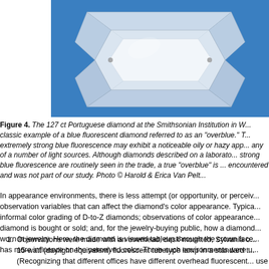[Figure (photo): Close-up photograph of the 127 ct Portuguese diamond at the Smithsonian Institution, shown on a blue background. The diamond is a large, brilliant-cut gem mounted in a jewelry setting, photographed from above showing its facets.]
Figure 4. The 127 ct Portuguese diamond at the Smithsonian Institution in W... classic example of a blue fluorescent diamond referred to as an "overblue." T... extremely strong blue fluorescence may exhibit a noticeable oily or hazy app... any of a number of light sources. Although diamonds described on a laborato... strong blue fluorescence are routinely seen in the trade, a true "overblue" is ... encountered and was not part of our study. Photo © Harold & Erica Van Pelt...
In appearance environments, there is less attempt (or opportunity, or perceiv... observation variables that can affect the diamond's color appearance. Typica... informal color grading of D-to-Z diamonds; observations of color appearance... diamond is bought or sold; and, for the jewelry-buying public, how a diamond... worn in jewelry. Here, the diamond is viewed tableup through the crown face... has more influence on the perceived color. Three such environments were u...
1. Observations were made with an overhead, desk-mounted, Sylvania o... 15-watt (daylight equivalent) fluorescent tubetype lamp in a standard t... (Recognizing that different offices have different overhead fluorescent... use of different bulbs for environments 2 and 3 provided a broader rep... environments. Again, in such a setting, there may or may not be ambi...